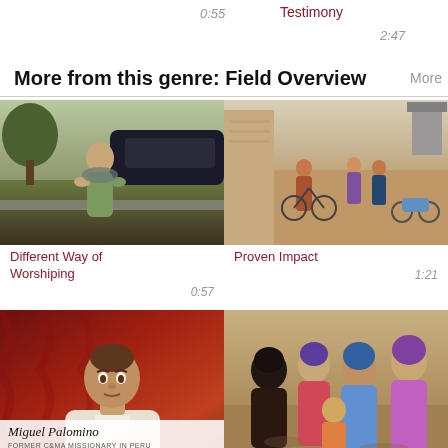0:55
Testimony
2:47
More from this genre: Field Overview
More
[Figure (photo): Woman standing on a street near a parked car, wearing a green outfit with arms crossed]
Different Way of Worshiping
0:57
[Figure (photo): Group of people with bicycles in a village setting]
Proven Impact
1:21
[Figure (photo): Man being interviewed against a red background, with name overlay reading Miguel Palomino, Former C&MA Missionary in Peru]
[Figure (photo): Group of women gathered outdoors in colorful clothing]